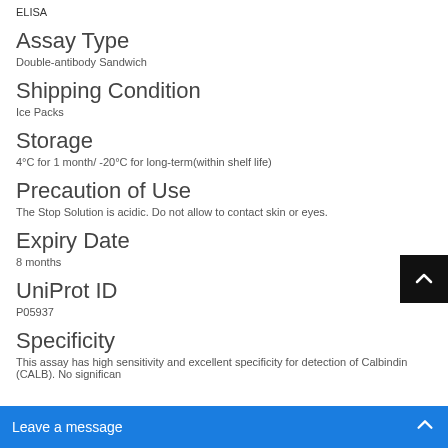ELISA
Assay Type
Double-antibody Sandwich
Shipping Condition
Ice Packs
Storage
4°C for 1 month/ -20°C for long-term(within shelf life)
Precaution of Use
The Stop Solution is acidic. Do not allow to contact skin or eyes.
Expiry Date
8 months
UniProt ID
P05937
Specificity
This assay has high sensitivity and excellent specificity for detection of Calbindin (CALB). No significan...